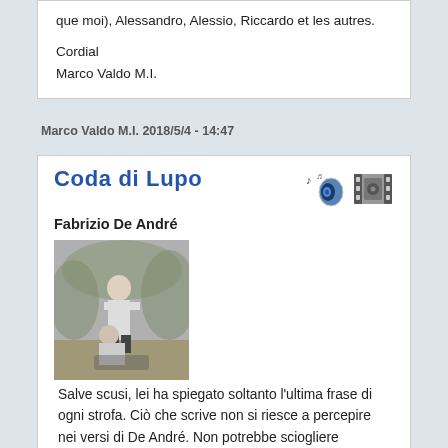que moi), Alessandro, Alessio, Riccardo et les autres.
Cordial
Marco Valdo M.I.
Marco Valdo M.I. 2018/5/4 - 14:47
Coda di Lupo
[Figure (other): Two speaker/audio icons and a film reel icon]
Fabrizio De André
[Figure (photo): Black and white photo of a person outdoors]
Salve scusi, lei ha spiegato soltanto l'ultima frase di ogni strofa. Ciò che scrive non si riesce a percepire nei versi di De André. Non potrebbe sciogliere